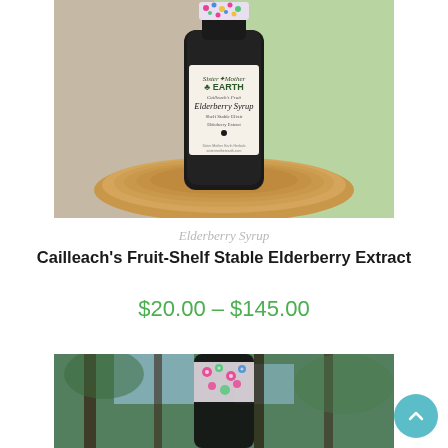[Figure (photo): A dark glass bottle of Sister Mother Earth Elderberry Syrup with a floral ribbon, sitting on a wooden slice, outdoors with a stone wall in the background.]
Elderberry Syrup
Cailleach's Fruit-Shelf Stable Elderberry Extract
$20.00 – $145.00
[Figure (photo): Partial view of a bottle with floral decoration, hanging among trees outdoors.]